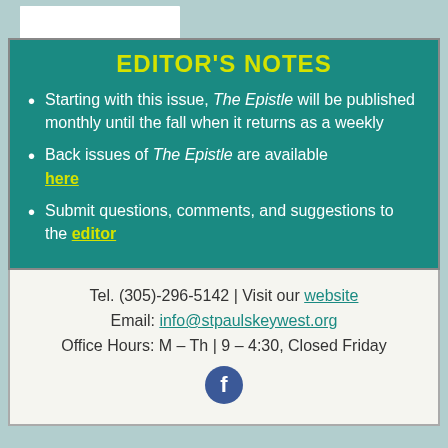EDITOR'S NOTES
Starting with this issue, The Epistle will be published monthly until the fall when it returns as a weekly
Back issues of The Epistle are available here
Submit questions, comments, and suggestions to the editor
Tel. (305)-296-5142 | Visit our website
Email: info@stpaulskeywest.org
Office Hours: M – Th | 9 – 4:30, Closed Friday
[Figure (logo): Facebook logo icon, circular blue button with white f]